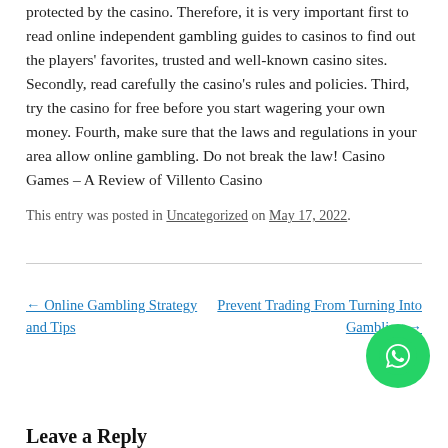protected by the casino. Therefore, it is very important first to read online independent gambling guides to casinos to find out the players' favorites, trusted and well-known casino sites. Secondly, read carefully the casino's rules and policies. Third, try the casino for free before you start wagering your own money. Fourth, make sure that the laws and regulations in your area allow online gambling. Do not break the law! Casino Games – A Review of Villento Casino
This entry was posted in Uncategorized on May 17, 2022.
← Online Gambling Strategy and Tips
Prevent Trading From Turning Into Gambling →
[Figure (illustration): WhatsApp button icon - green circle with white phone handset symbol]
Leave a Reply